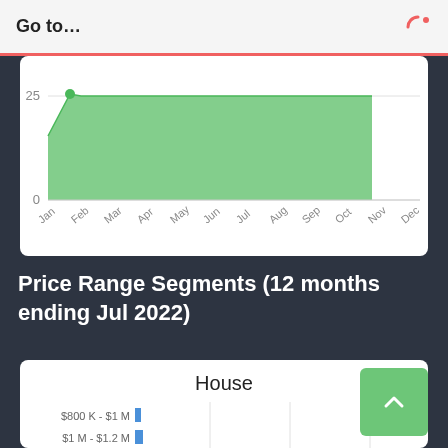Go to…
[Figure (area-chart): Area chart showing values around 25 from Jan through Oct, dropping to 0 for Nov-Dec. Y-axis shows 0 and 25 labels.]
Price Range Segments (12 months ending Jul 2022)
[Figure (bar-chart): Horizontal bar chart showing house price range segments. Partial view showing $800K-$1M and $1M-$1.2M segments with blue bars.]